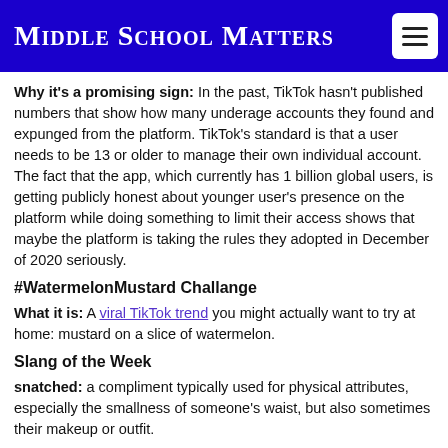Middle School Matters
Why it's a promising sign: In the past, TikTok hasn't published numbers that show how many underage accounts they found and expunged from the platform. TikTok's standard is that a user needs to be 13 or older to manage their own individual account. The fact that the app, which currently has 1 billion global users, is getting publicly honest about younger user's presence on the platform while doing something to limit their access shows that maybe the platform is taking the rules they adopted in December of 2020 seriously.
#WatermelonMustard Challange
What it is: A viral TikTok trend you might actually want to try at home: mustard on a slice of watermelon.
Slang of the Week
snatched: a compliment typically used for physical attributes, especially the smallness of someone's waist, but also sometimes their makeup or outfit.